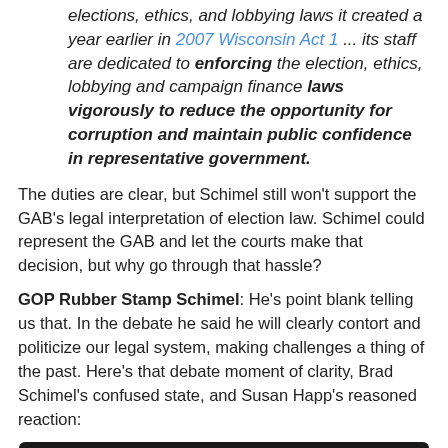elections, ethics, and lobbying laws it created a year earlier in 2007 Wisconsin Act 1 ... its staff are dedicated to enforcing the election, ethics, lobbying and campaign finance laws vigorously to reduce the opportunity for corruption and maintain public confidence in representative government.
The duties are clear, but Schimel still won't support the GAB's legal interpretation of election law. Schimel could represent the GAB and let the courts make that decision, but why go through that hassle?
GOP Rubber Stamp Schimel: He's point blank telling us that. In the debate he said he will clearly contort and politicize our legal system, making challenges a thing of the past. Here's that debate moment of clarity, Brad Schimel's confused state, and Susan Happ's reasoned reaction:
[Figure (screenshot): YouTube video thumbnail showing 'Happ Schimel Illegal ca...' with a circular avatar icon and three-dot menu, dark background with 'OSHAGO WOO' text visible, person visible at bottom]